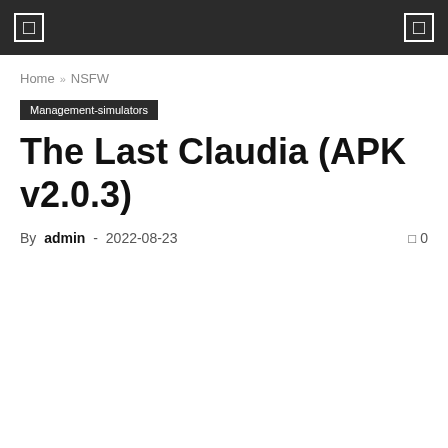[ ]  [ ]
Home » NSFW
Management-simulators
The Last Claudia (APK v2.0.3)
By admin - 2022-08-23   0